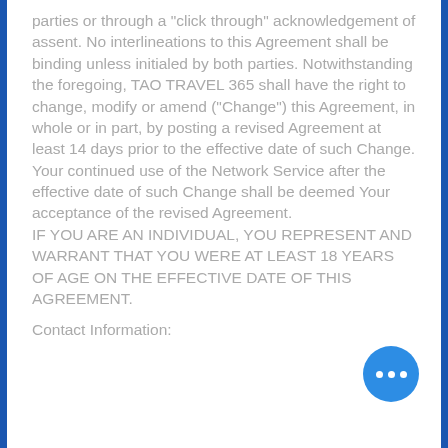parties or through a "click through" acknowledgement of assent. No interlineations to this Agreement shall be binding unless initialed by both parties. Notwithstanding the foregoing, TAO TRAVEL 365 shall have the right to change, modify or amend ("Change") this Agreement, in whole or in part, by posting a revised Agreement at least 14 days prior to the effective date of such Change. Your continued use of the Network Service after the effective date of such Change shall be deemed Your acceptance of the revised Agreement.
IF YOU ARE AN INDIVIDUAL, YOU REPRESENT AND WARRANT THAT YOU WERE AT LEAST 18 YEARS OF AGE ON THE EFFECTIVE DATE OF THIS AGREEMENT.
Contact Information: